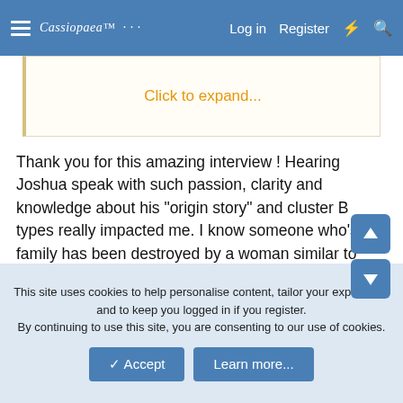Cassiopaea Log in Register
Click to expand...
Thank you for this amazing interview ! Hearing Joshua speak with such passion, clarity and knowledge about his "origin story" and cluster B types really impacted me. I know someone who's family has been destroyed by a woman similar to Joshua's mother and the behaviors/events are very similar indeed.
I believe Joshua mentions this fact during the interview, people belonging to cluster B don't have really an identity, meaning something that distinguishes themselves from
This site uses cookies to help personalise content, tailor your experience and to keep you logged in if you register.
By continuing to use this site, you are consenting to our use of cookies